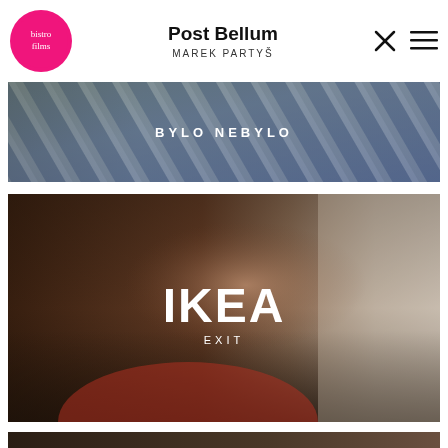[Figure (logo): Bistro Films logo — pink circle with handwritten white script text 'bistro films']
Post Bellum
MAREK PARTYŠ
[Figure (photo): Film thumbnail for 'BYLO NEBYLO' — close-up photo of blue and white striped fabric/clothing with text overlay]
[Figure (photo): Film thumbnail for 'IKEA EXIT' — cinematic photo of a woman in an orange top looking to the side near a window with curtains, warm dramatic lighting, with overlay text 'IKEA' and 'EXIT']
[Figure (photo): Partial film thumbnail at bottom — dark toned cinematic scene, partially visible]